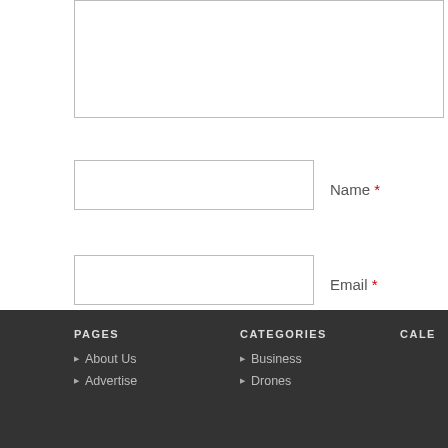[Figure (screenshot): Partial textarea input box at top of page]
Name *
Email *
Website
Save my name, email, and website in this browser for the next time I comment.
SUBMIT COMMENT
PAGES
About Us
Advertise
CATEGORIES
Business
Drones
CALE